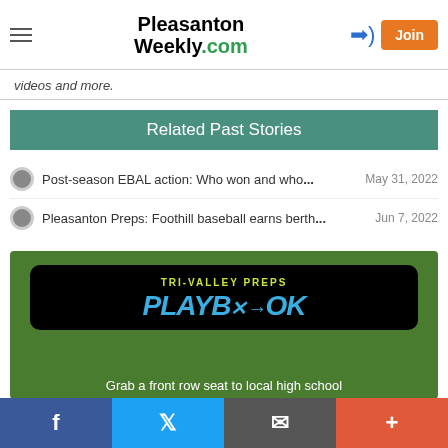Pleasanton Weekly.com
videos and more.
Related Past Stories
Post-season EBAL action: Who won and who... May 31, 2022
Pleasanton Preps: Foothill baseball earns berth... Jun 7, 2022
[Figure (other): Tri-Valley Preps Playbook advertisement on green grass background. Shows logo with text TRI-VALLEY PREPS PLAYBOOK and tagline Grab a front row seat to local high school]
f  Twitter  email  +